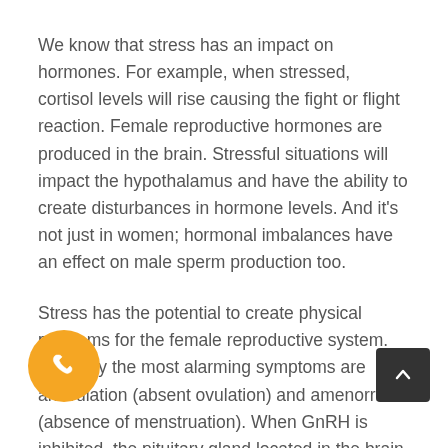We know that stress has an impact on hormones. For example, when stressed, cortisol levels will rise causing the fight or flight reaction. Female reproductive hormones are produced in the brain. Stressful situations will impact the hypothalamus and have the ability to create disturbances in hormone levels. And it’s not just in women; hormonal imbalances have an effect on male sperm production too.
Stress has the potential to create physical problems for the female reproductive system. Probably the most alarming symptoms are anovulation (absent ovulation) and amenorrhea (absence of menstruation). When GnRH is inhibited, the pituitary gland located in the brain is unable to effectively release the hormones necessary for the reproductive system to function correctly. Many studies have shown that stress can have a negative impact on the